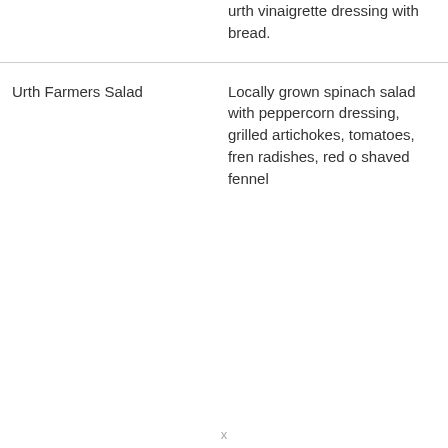| Item | Description |
| --- | --- |
|  | urth vinaigrette dressing with bread. |
| Urth Farmers Salad | Locally grown spinach salad with peppercorn dressing, grilled artichokes, tomatoes, french radishes, red onion, shaved fennel |
x